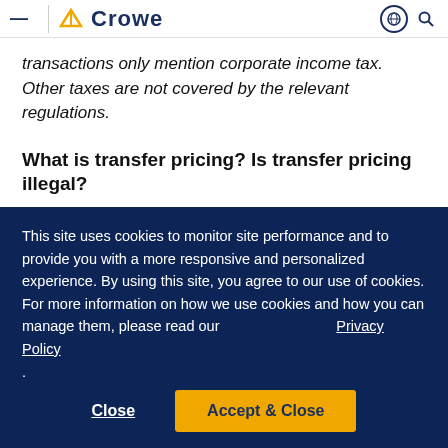— Crowe
transactions only mention corporate income tax. Other taxes are not covered by the relevant regulations.
What is transfer pricing? Is transfer pricing illegal?
This site uses cookies to monitor site performance and to provide you with a more responsive and personalized experience. By using this site, you agree to our use of cookies. For more information on how we use cookies and how you can manage them, please read our Privacy Policy .
Close  Accept & Close